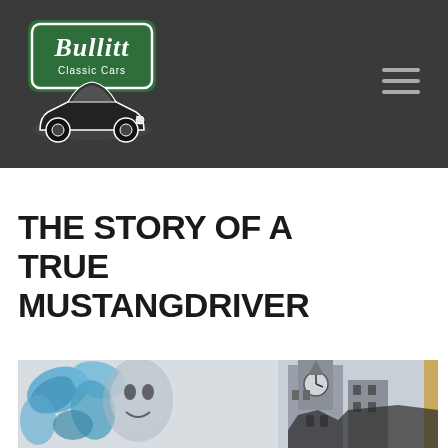[Figure (logo): Bullitt Classic Cars logo: green license plate sign with 'Bullitt Classic Cars' text and a classic muscle car illustration in black and white below it]
THE STORY OF A TRUE MUSTANGDRIVER
[Figure (photo): Street art / mural photo showing blue butterfly and face artwork on a wall with a clock tower building visible on the right side]